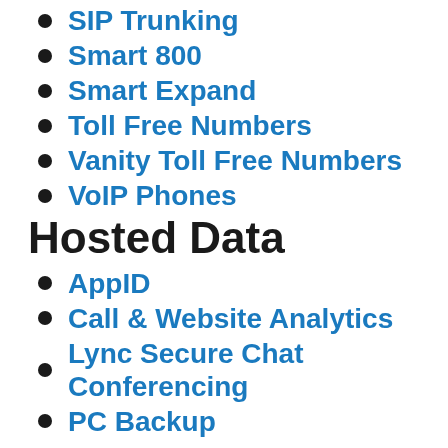SIP Trunking
Smart 800
Smart Expand
Toll Free Numbers
Vanity Toll Free Numbers
VoIP Phones
Hosted Data
AppID
Call & Website Analytics
Lync Secure Chat Conferencing
PC Backup